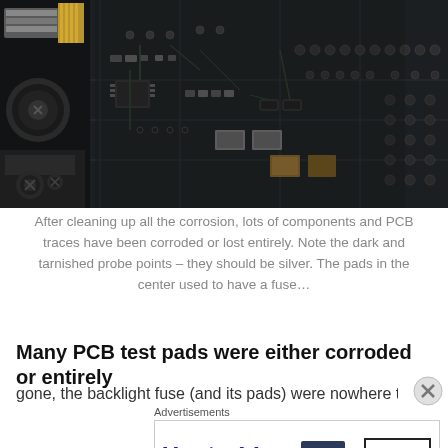[Figure (photo): Close-up photograph of a corroded MacBook PCB (printed circuit board) showing dark and tarnished probe points, missing fuse pads, corroded SMD components, PCB traces, and various electronic components including capacitors, resistors, connectors, and screws against a dark board]
After cleaning up all the corrosion, lots of components and PCB traces have been corroded or lost entirely. Note the dark and tarnished probe points – they should be silver. The pads in the center used to have a fuse…
Many PCB test pads were either corroded or entirely
gone, the backlight fuse (and its pads) were nowhere to b